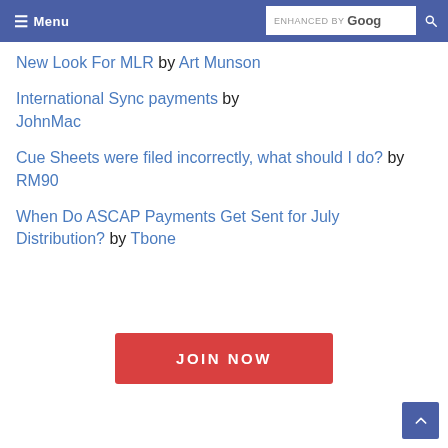Menu | ENHANCED BY Google [search]
New Look For MLR by Art Munson
International Sync payments by JohnMac
Cue Sheets were filed incorrectly, what should I do? by RM90
When Do ASCAP Payments Get Sent for July Distribution? by Tbone
JOIN NOW
[Figure (other): Scroll to top button arrow]